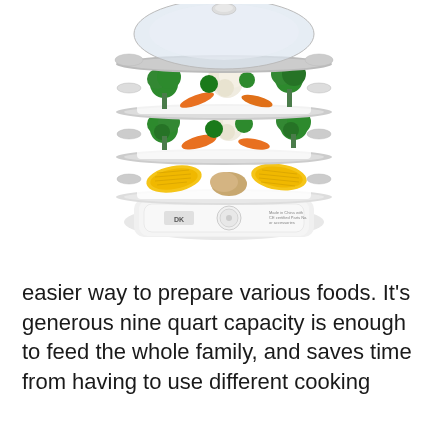[Figure (photo): A three-tier electric food steamer with a white base and clear tiers. The top tier contains broccoli, cauliflower, and other vegetables. The middle tier has broccoli, carrots, and mixed vegetables. The bottom tier has corn on the cob and potatoes. The steamer has a Kalorik brand logo and a timer dial on the white base.]
easier way to prepare various foods. It's generous nine quart capacity is enough to feed the whole family, and saves time from having to use different cooking